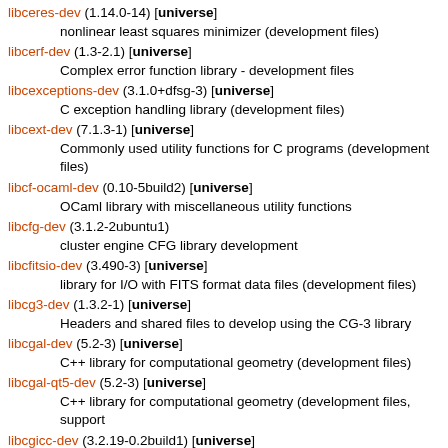libceres-dev (1.14.0-14) [universe]
        nonlinear least squares minimizer (development files)
libcerf-dev (1.3-2.1) [universe]
        Complex error function library - development files
libcexceptions-dev (3.1.0+dfsg-3) [universe]
        C exception handling library (development files)
libcext-dev (7.1.3-1) [universe]
        Commonly used utility functions for C programs (development files)
libcf-ocaml-dev (0.10-5build2) [universe]
        OCaml library with miscellaneous utility functions
libcfg-dev (3.1.2-2ubuntu1)
        cluster engine CFG library development
libcfitsio-dev (3.490-3) [universe]
        library for I/O with FITS format data files (development files)
libcg3-dev (1.3.2-1) [universe]
        Headers and shared files to develop using the CG-3 library
libcgal-dev (5.2-3) [universe]
        C++ library for computational geometry (development files)
libcgal-qt5-dev (5.2-3) [universe]
        C++ library for computational geometry (development files, support
libcgicc-dev (3.2.19-0.2build1) [universe]
        C++ class library for writing CGI applications (development files)
libcglm-dev (0.7.9-1) [universe]